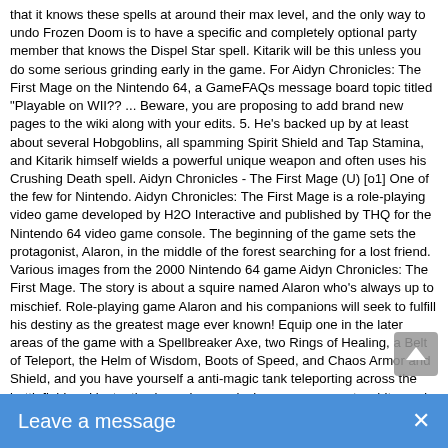that it knows these spells at around their max level, and the only way to undo Frozen Doom is to have a specific and completely optional party member that knows the Dispel Star spell. Kitarik will be this unless you do some serious grinding early in the game. For Aidyn Chronicles: The First Mage on the Nintendo 64, a GameFAQs message board topic titled "Playable on WII?? ... Beware, you are proposing to add brand new pages to the wiki along with your edits. 5. He's backed up by at least about several Hobgoblins, all spamming Spirit Shield and Tap Stamina, and Kitarik himself wields a powerful unique weapon and often uses his Crushing Death spell. Aidyn Chronicles - The First Mage (U) [o1] One of the few for Nintendo. Aidyn Chronicles: The First Mage is a role-playing video game developed by H2O Interactive and published by THQ for the Nintendo 64 video game console. The beginning of the game sets the protagonist, Alaron, in the middle of the forest searching for a lost friend. Various images from the 2000 Nintendo 64 game Aidyn Chronicles: The First Mage. The story is about a squire named Alaron who's always up to mischief. Role-playing game Alaron and his companions will seek to fulfill his destiny as the greatest mage ever known! Equip one in the later areas of the game with a Spellbreaker Axe, two Rings of Healing, a Belt of Teleport, the Helm of Wisdom, Boots of Speed, and Chaos Armor and Shield, and you have yourself a anti-magic tank teleporting across the battlefield and instantly skewering mooks in a mere one or two hits, and the tougher ones with only a few hits. There's an underlying reason, but he doesn't know yet. 2:09. És un dels pocs videojocs de rol per consola de Nintendo per la Nintendo 64. https://allthetropes.fandom.com/wiki/Aidyn_Chronicles?oldid=759496. Listen online to Aidyn Chronicles - Under Attack and find out more about its history, critical reception, and meaning. The Fir Coat: 3: 11/19 11:40AM Aidyn Chronicles: The First Mage. 4) … Aidyn Chronicles: The First Mage was one of the few Nintendo 64 role-playing games. RN Chronicles: The First Mage: US: THQ: NUS
[Figure (other): Scroll-to-top button (grey rounded rectangle with upward arrow)]
Leave a message  ✕